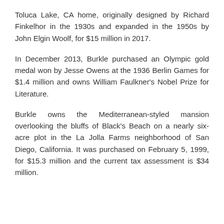Toluca Lake, CA home, originally designed by Richard Finkelhor in the 1930s and expanded in the 1950s by John Elgin Woolf, for $15 million in 2017.
In December 2013, Burkle purchased an Olympic gold medal won by Jesse Owens at the 1936 Berlin Games for $1.4 million and owns William Faulkner's Nobel Prize for Literature.
Burkle owns the Mediterranean-styled mansion overlooking the bluffs of Black's Beach on a nearly six-acre plot in the La Jolla Farms neighborhood of San Diego, California. It was purchased on February 5, 1999, for $15.3 million and the current tax assessment is $34 million.